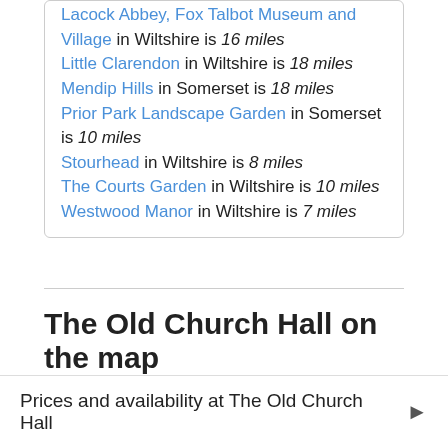Lacock Abbey, Fox Talbot Museum and Village in Wiltshire is 16 miles
Little Clarendon in Wiltshire is 18 miles
Mendip Hills in Somerset is 18 miles
Prior Park Landscape Garden in Somerset is 10 miles
Stourhead in Wiltshire is 8 miles
The Courts Garden in Wiltshire is 10 miles
Westwood Manor in Wiltshire is 7 miles
The Old Church Hall on the map
= The Old Church Hall on the map    = Other
Prices and availability at The Old Church Hall